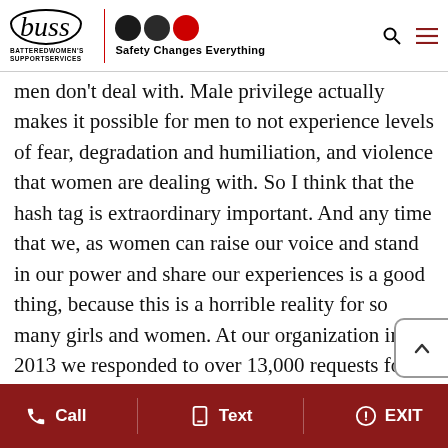buss | BATTERED WOMEN'S SUPPORT SERVICES | Safety Changes Everything
men don't deal with. Male privilege actually makes it possible for men to not experience levels of fear, degradation and humiliation, and violence that women are dealing with. So I think that the hash tag is extraordinary important. And any time that we, as women can raise our voice and stand in our power and share our experiences is a good thing, because this is a horrible reality for so many girls and women. At our organization in 2013 we responded to over 13,000 requests for direct service from women, and this is up 3,000 from the year before. And we are a small women
Call   Text   EXIT